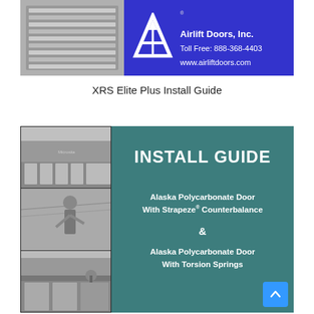[Figure (photo): Airlift Doors Inc. header banner with blue background, company logo (stylized white A with arrow), company name, toll-free number 888-368-4403, and website www.airliftdoors.com. Left side shows a photo of a door product.]
XRS Elite Plus Install Guide
[Figure (illustration): Installation guide cover showing three black-and-white photos on the left (commercial building with multiple doors, person installing door, exterior building view) and teal/green right panel with text: INSTALL GUIDE, Alaska Polycarbonate Door With Strapeze® Counterbalance & Alaska Polycarbonate Door With Torsion Springs]